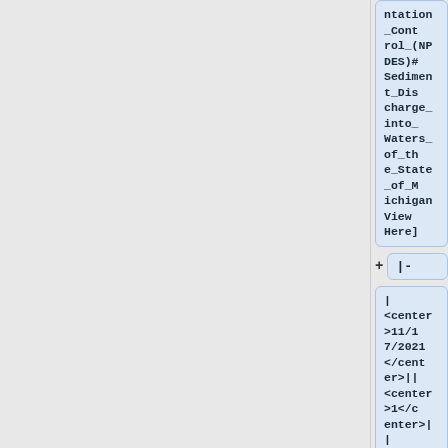ntation_Control_(NPDES)#Sediment_Discharge_into_Waters_of_the_State_of_Michigan View Here]
|-
| <center>11/17/2021</center>|| <center>1</center>|| <center>[[103.02_Contract_Revisions#Design_Errors|103.02